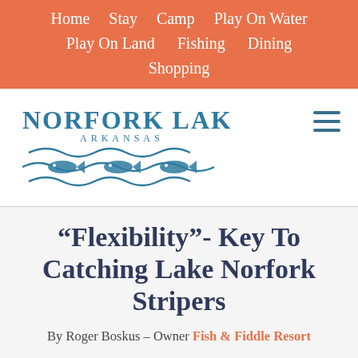Home   Stay   Camp   Play On Water   Play On Land   Fishing   Dining   Shopping
[Figure (logo): Norfork Lake Arkansas logo with stylized fish and wave lines in teal/blue]
“Flexibility”- Key To Catching Lake Norfork Stripers
By Roger Boskus – Owner Fish & Fiddle Resort
One of the biggest misconceptions for striper